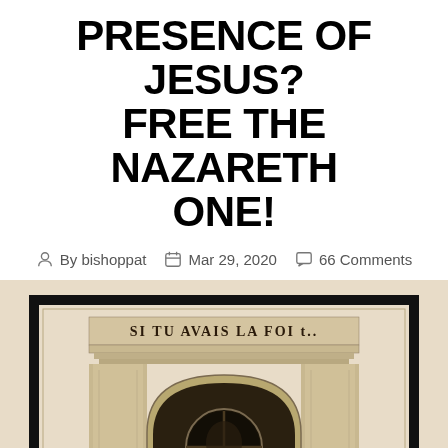PRESENCE OF JESUS? FREE THE NAZARETH ONE!
By bishoppat   Mar 29, 2020   66 Comments
[Figure (illustration): Framed vintage illustration of an arched stone doorway or gate with text 'SI TU AVAIS LA FOI t..' above the arch. The image has a dark border frame and shows classical architectural elements including columns and an arched opening with what appears to be a circular window.]